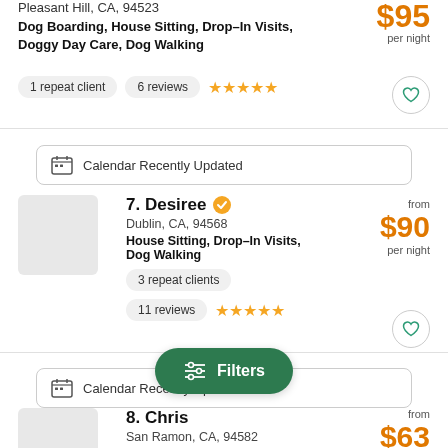Pleasant Hill, CA, 94523
Dog Boarding, House Sitting, Drop-In Visits, Doggy Day Care, Dog Walking
$95 per night
1 repeat client  6 reviews  ★★★★★
Calendar Recently Updated
7. Desiree
Dublin, CA, 94568
House Sitting, Drop-In Visits, Dog Walking
from $90 per night
3 repeat clients  11 reviews  ★★★★★
Calendar Recently Updated
8. Chris
San Ramon, CA, 94582
House Sitting, Drop-In Visits, Dog Walking
from $63